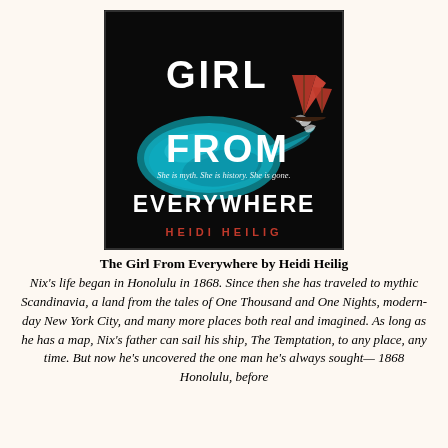[Figure (illustration): Book cover of 'Girl From Everywhere' by Heidi Heilig. Black background with a large glass bottle containing blue water and a ship with orange/red sails emerging from the bottle's neck. White bold text reads 'GIRL FROM EVERYWHERE' and red text reads 'HEIDI HEILIG'. Italic tagline reads 'She is myth. She is history. She is gone.']
The Girl From Everywhere by Heidi Heilig
Nix's life began in Honolulu in 1868. Since then she has traveled to mythic Scandinavia, a land from the tales of One Thousand and One Nights, modern-day New York City, and many more places both real and imagined. As long as he has a map, Nix's father can sail his ship, The Temptation, to any place, any time. But now he's uncovered the one man he's always sought— 1868 Honolulu, before